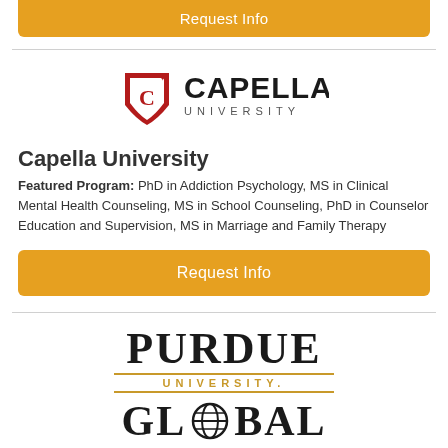[Figure (other): Partial orange 'Request Info' button at top of page (cropped)]
[Figure (logo): Capella University logo with shield icon and text 'CAPELLA UNIVERSITY']
Capella University
Featured Program: PhD in Addiction Psychology, MS in Clinical Mental Health Counseling, MS in School Counseling, PhD in Counselor Education and Supervision, MS in Marriage and Family Therapy
[Figure (other): Orange 'Request Info' button]
[Figure (logo): Purdue University Global logo showing 'PURDUE' in serif font, 'UNIVERSITY.' in gold small caps, and 'GLOBAL' with globe icon (partially cropped)]